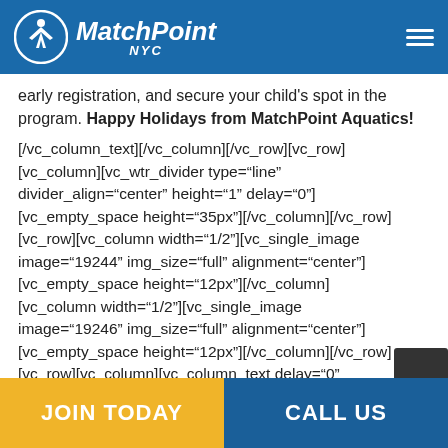MatchPoint NYC
early registration, and secure your child's spot in the program. Happy Holidays from MatchPoint Aquatics!
[/vc_column_text][/vc_column][/vc_row][vc_row][vc_column][vc_wtr_divider type="line" divider_align="center" height="1" delay="0"][vc_empty_space height="35px"][/vc_column][/vc_row][vc_row][vc_column width="1/2"][vc_single_image image="19244" img_size="full" alignment="center"][vc_empty_space height="12px"][/vc_column][vc_column width="1/2"][vc_single_image image="19246" img_size="full" alignment="center"][vc_empty_space height="12px"][/vc_column][/vc_row][vc_row][vc_column][vc_column_text delay="0"
JOIN TODAY   CALL US